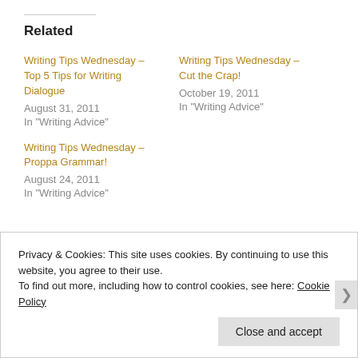Related
Writing Tips Wednesday – Top 5 Tips for Writing Dialogue
August 31, 2011
In "Writing Advice"
Writing Tips Wednesday – Cut the Crap!
October 19, 2011
In "Writing Advice"
Writing Tips Wednesday – Proppa Grammar!
August 24, 2011
In "Writing Advice"
Privacy & Cookies: This site uses cookies. By continuing to use this website, you agree to their use.
To find out more, including how to control cookies, see here: Cookie Policy
Close and accept